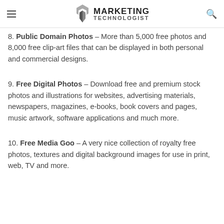MARKETING TECHNOLOGIST
8. Public Domain Photos – More than 5,000 free photos and 8,000 free clip-art files that can be displayed in both personal and commercial designs.
9. Free Digital Photos – Download free and premium stock photos and illustrations for websites, advertising materials, newspapers, magazines, e-books, book covers and pages, music artwork, software applications and much more.
10. Free Media Goo – A very nice collection of royalty free photos, textures and digital background images for use in print, web, TV and more.